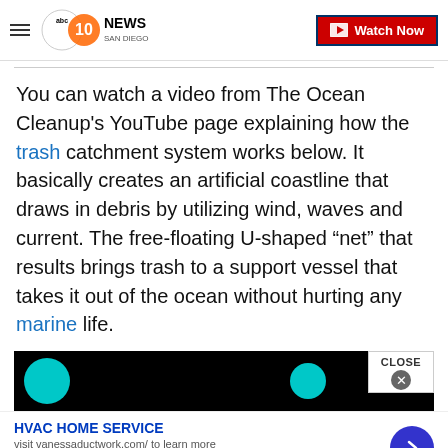ABC 10News San Diego — Watch Now
You can watch a video from The Ocean Cleanup's YouTube page explaining how the trash catchment system works below. It basically creates an artificial coastline that draws in debris by utilizing wind, waves and current. The free-floating U-shaped “net” that results brings trash to a support vessel that takes it out of the ocean without hurting any marine life.
[Figure (screenshot): Video thumbnail preview on dark background with teal circles]
HVAC HOME SERVICE
visit vanessaductwork.com/ to learn more
www.vanessaductwork.com